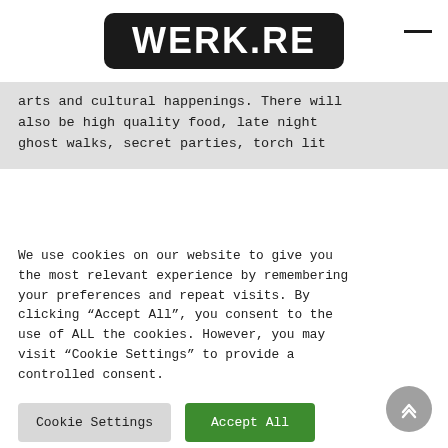WERK.RE
arts and cultural happenings. There will also be high quality food, late night ghost walks, secret parties, torch lit
We use cookies on our website to give you the most relevant experience by remembering your preferences and repeat visits. By clicking “Accept All”, you consent to the use of ALL the cookies. However, you may visit “Cookie Settings” to provide a controlled consent.
Cookie Settings | Accept All